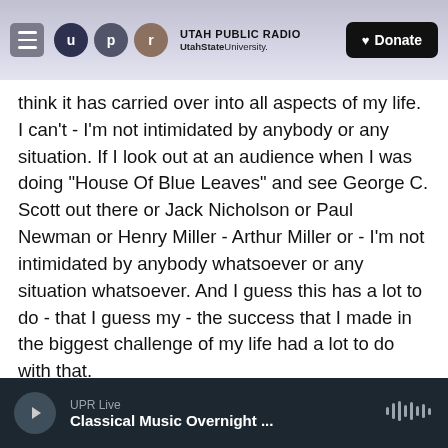Utah Public Radio | UtahState University | Donate
think it has carried over into all aspects of my life. I can't - I'm not intimidated by anybody or any situation. If I look out at an audience when I was doing "House Of Blue Leaves" and see George C. Scott out there or Jack Nicholson or Paul Newman or Henry Miller - Arthur Miller or - I'm not intimidated by anybody whatsoever or any situation whatsoever. And I guess this has a lot to do - that I guess my - the success that I made in the biggest challenge of my life had a lot to do with that.
GROSS: Well, listen; thanks so much for talking with us.
UPR Live | Classical Music Overnight ...